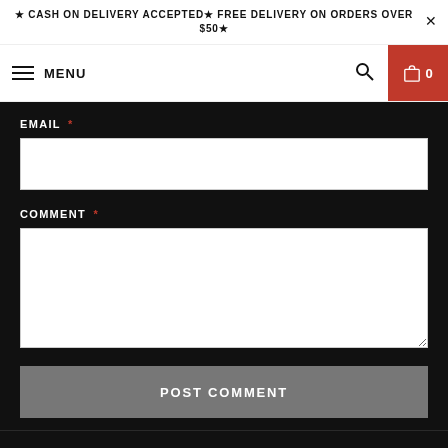★ CASH ON DELIVERY ACCEPTED★ FREE DELIVERY ON ORDERS OVER $50★
MENU
EMAIL *
COMMENT *
POST COMMENT
RECENT ARTICLES